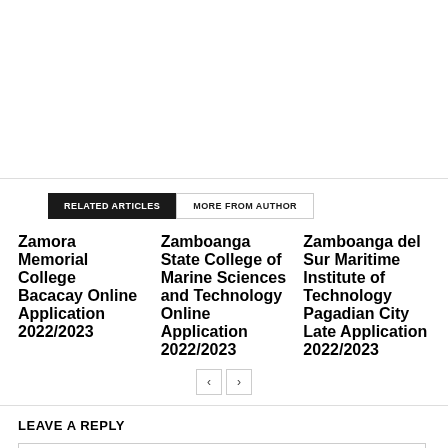RELATED ARTICLES  MORE FROM AUTHOR
Zamora Memorial College Bacacay Online Application 2022/2023
Zamboanga State College of Marine Sciences and Technology Online Application 2022/2023
Zamboanga del Sur Maritime Institute of Technology Pagadian City Late Application 2022/2023
LEAVE A REPLY
Comment: